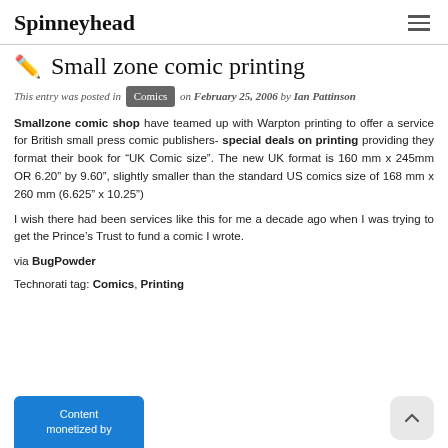Spinneyhead
Small zone comic printing
This entry was posted in Comics on February 25, 2006 by Ian Pattinson
Smallzone comic shop have teamed up with Warpton printing to offer a service for British small press comic publishers- special deals on printing providing they format their book for “UK Comic size”. The new UK format is 160 mm x 245mm OR 6.20” by 9.60”, slightly smaller than the standard US comics size of 168 mm x 260 mm (6.625” x 10.25”)
I wish there had been services like this for me a decade ago when I was trying to get the Prince’s Trust to fund a comic I wrote.
via BugPowder
Technorati tag: Comics, Printing